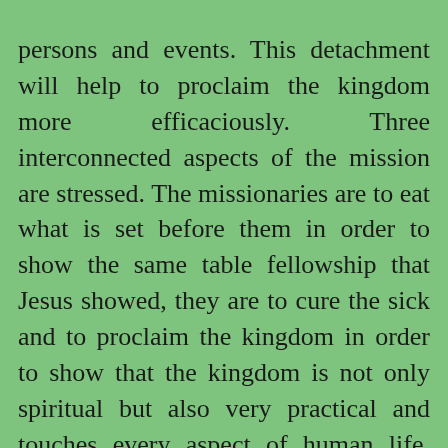persons and events. This detachment will help to proclaim the kingdom more efficaciously. Three interconnected aspects of the mission are stressed. The missionaries are to eat what is set before them in order to show the same table fellowship that Jesus showed, they are to cure the sick and to proclaim the kingdom in order to show that the kingdom is not only spiritual but also very practical and touches every aspect of human life. They are to do and also to say.
It is sometimes mistakenly thought that only religious men and women are called to be missionaries. However, a